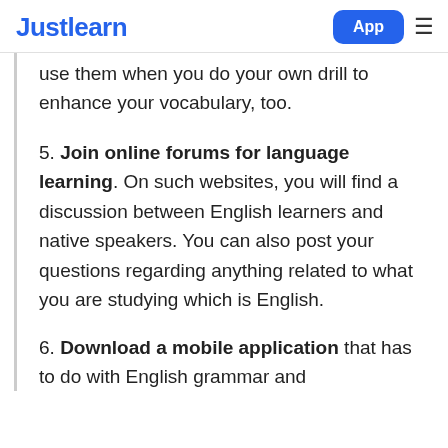Justlearn  App
use them when you do your own drill to enhance your vocabulary, too.
5. Join online forums for language learning. On such websites, you will find a discussion between English learners and native speakers. You can also post your questions regarding anything related to what you are studying which is English.
6. Download a mobile application that has to do with English grammar and